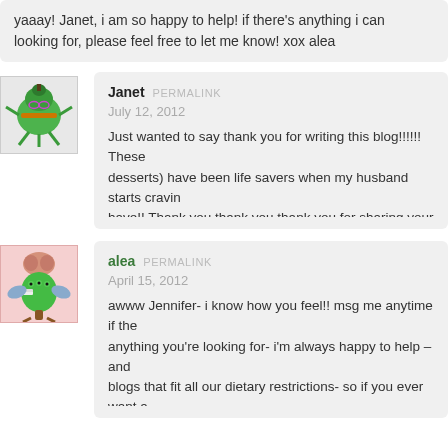yaaay! Janet, i am so happy to help! if there's anything i can looking for, please feel free to let me know! xox alea
Janet  PERMALINK
July 12, 2012
Just wanted to say thank you for writing this blog!!!!!! These desserts) have been life savers when my husband starts craving have!! Thank you thank you thank you for sharing your know
alea  PERMALINK
April 15, 2012
awww Jennifer- i know how you feel!! msg me anytime if the anything you're looking for- i'm always happy to help – and blogs that fit all our dietary restrictions- so if you ever want a shout. :) ox